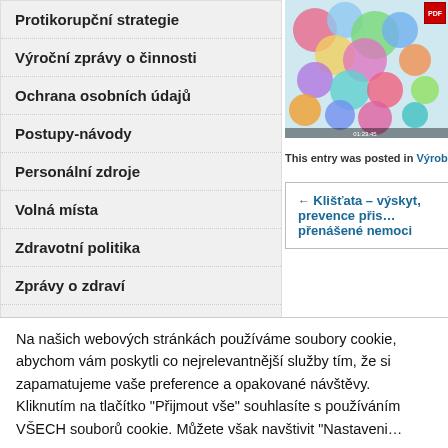Protikorupční strategie
Výroční zprávy o činnosti
Ochrana osobních údajů
Postupy-návody
Personální zdroje
Volná místa
Zdravotní politika
Zprávy o zdraví
Hospodaření KHS
Informace o výsledcích kontrol
Zkoušky, školení
Nejnovější příspěvky
Nebezpečný výrobek
[Figure (photo): Colorful circular product photo with overlapping circles in pink, blue, green colors]
This entry was posted in Výrobky pro děti do 3
← Klišťata – výskyt, prevence přis… přenášené nemoci
Na našich webových stránkách používáme soubory cookie, abychom vám poskytli co nejrelevantnější služby tím, že si zapamatujeme vaše preference a opakované návštěvy. Kliknutím na tlačítko "Přijmout vše" souhlasíte s používáním VŠECH souborů cookie. Můžete však navštivit "Nastavení…